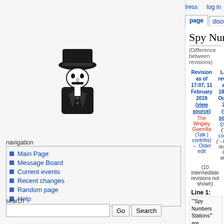3.239.165.51   talk for this ip address   log in
page | discussion | view source | history
[Figure (illustration): Black and white pixel art illustration of a spy/detective figure wearing a hat and trench coat]
navigation
Main Page
Message Board
Current events
Recent changes
Random page
Help
search
toolbox
What links here
Related changes
Special pages
Spy Numbers Stations
(Difference between revisions)
| Revision as of 17:07, 11 February 2019 (view source) | Latest revision as of 18:13, 5 October 2019 (view source) |
| --- | --- |
| The Wrigley Guerrilla (Talk | contribs)
← Older edit | SV1XV (Talk | contribs)
(→Further reading: QST article) |
(10 intermediate revisions not shown)
| Line 1: | Line 1: |
| --- | --- |
| '''Spy Numbers Stations''' are shortwave radio stations that are speculated to have been broadcasting since World War I.  The true origin and purpose of | '''Spy Numbers Stations''' are shortwave radio stations that are speculated to have been broadcasting since World War I.  The true origin and purpose of |